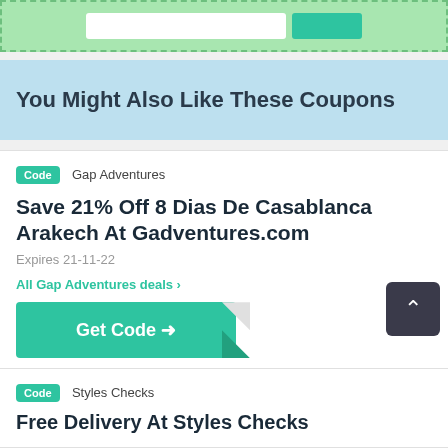You Might Also Like These Coupons
Code  Gap Adventures
Save 21% Off 8 Dias De Casablanca Arakech At Gadventures.com
Expires 21-11-22
All Gap Adventures deals >
Get Code →
Code  Styles Checks
Free Delivery At Styles Checks